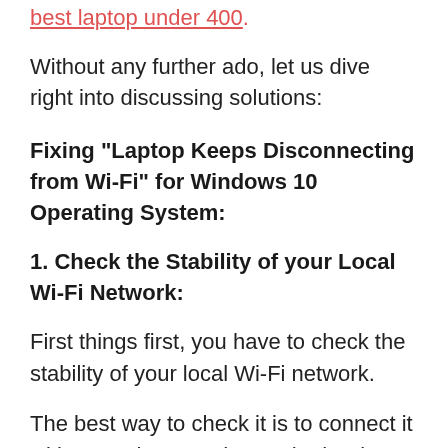best laptop under 400.
Without any further ado, let us dive right into discussing solutions:
Fixing “Laptop Keeps Disconnecting from Wi-Fi” for Windows 10 Operating System:
1. Check the Stability of your Local Wi-Fi Network:
First things first, you have to check the stability of your local Wi-Fi network.
The best way to check it is to connect it with your phone and see whether it gets disconnected from there.